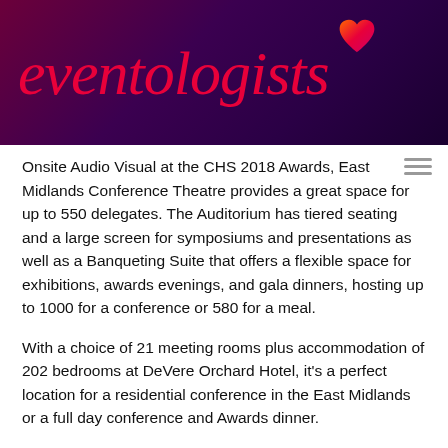[Figure (logo): Eventologists logo with italic red text on dark purple/maroon gradient banner background, with a small orange/pink heart icon above the letter 'o']
Onsite Audio Visual at the CHS 2018 Awards, East Midlands Conference Theatre provides a great space for up to 550 delegates. The Auditorium has tiered seating and a large screen for symposiums and presentations as well as a Banqueting Suite that offers a flexible space for exhibitions, awards evenings, and gala dinners, hosting up to 1000 for a conference or 580 for a meal.
With a choice of 21 meeting rooms plus accommodation of 202 bedrooms at DeVere Orchard Hotel, it's a perfect location for a residential conference in the East Midlands or a full day conference and Awards dinner.